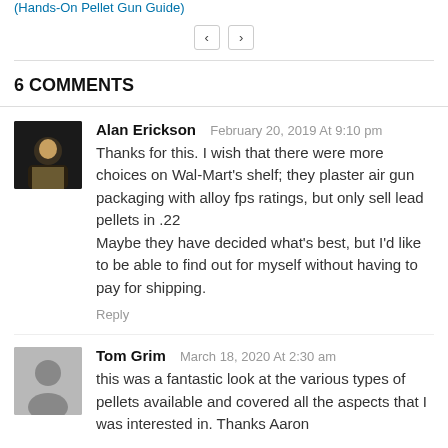(Hands-On Pellet Gun Guide)
< >
6 COMMENTS
Alan Erickson  February 20, 2019 At 9:10 pm
Thanks for this. I wish that there were more choices on Wal-Mart's shelf; they plaster air gun packaging with alloy fps ratings, but only sell lead pellets in .22
Maybe they have decided what's best, but I'd like to be able to find out for myself without having to pay for shipping.
Reply
Tom Grim  March 18, 2020 At 2:30 am
this was a fantastic look at the various types of pellets available and covered all the aspects that I was interested in. Thanks Aaron